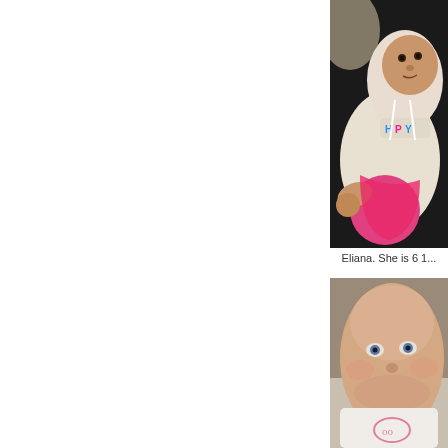[Figure (photo): Photo of a baby named Eliana wearing a white hoodie with pink and colorful text, sitting against a dark background, dressed in pink pants.]
Eliana. She is 6 1...
[Figure (photo): Close-up photo of a baby with blue eyes looking at the camera, wearing a white outfit with a pink embroidered design.]